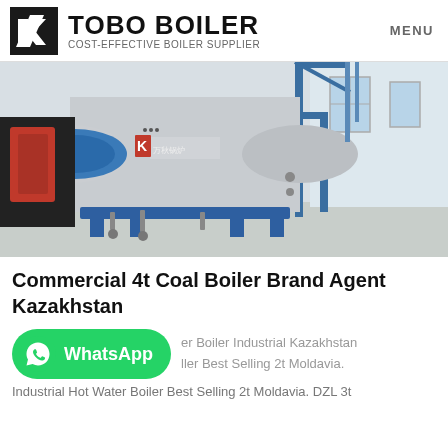TOBO BOILER — COST-EFFECTIVE BOILER SUPPLIER | MENU
[Figure (photo): Industrial boiler installation inside a building — large horizontal cylindrical boiler tank with blue frame structure, red burner assembly on the left, Chinese manufacturer branding visible, white interior walls with windows.]
Commercial 4t Coal Boiler Brand Agent Kazakhstan
er Boiler Industrial Kazakhstan ller Best Selling 2t Moldavia. Industrial Hot Water Boiler Best Selling 2t Moldavia. DZL 3t